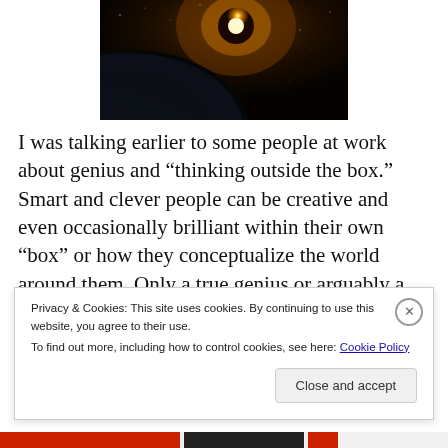[Figure (photo): Space/astronomy image showing a bright star or sun against a dark cosmic background with a planetary edge visible]
I was talking earlier to some people at work about genius and “thinking outside the box.” Smart and clever people can be creative and even occasionally brilliant within their own “box” or how they conceptualize the world around them. Only a true genius or arguably a mystic can see themselves, how they think, and what they think about
Privacy & Cookies: This site uses cookies. By continuing to use this website, you agree to their use.
To find out more, including how to control cookies, see here: Cookie Policy
Close and accept